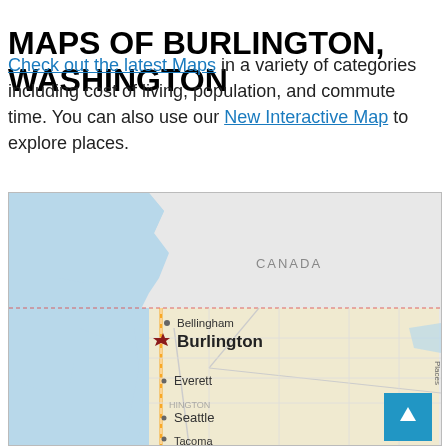MAPS OF BURLINGTON, WASHINGTON
Check out the latest Maps in a variety of categories including cost of living, population, and commute time. You can also use our New Interactive Map to explore places.
[Figure (map): Map showing Burlington, Washington and surrounding area including Canada to the north, Bellingham, Everett, Seattle, and Tacoma. Burlington is marked with a red star. The map shows Puget Sound waterways in blue on the left side.]